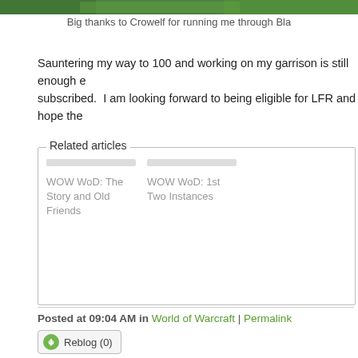[Figure (screenshot): Top banner image showing a green landscape/game scene]
Big thanks to Crowelf for running me through Bla
Sauntering my way to 100 and working on my garrison is still enough e... subscribed.  I am looking forward to being eligible for LFR and hope the
Related articles
WOW WoD: The Story and Old Friends
WOW WoD: 1st Two Instances
Posted at 09:04 AM in World of Warcraft | Permalink
Reblog (0)
COMMENTS
As DPS, on my realm Highmaul queues haven't been as long... normally try to queue close to reset. Those seem to be the fa